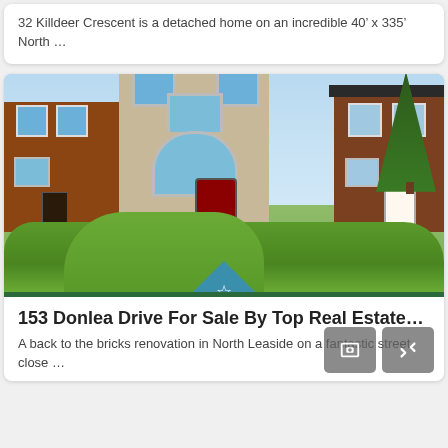32 Killdeer Crescent is a detached home on an incredible 40’ x 335’ North …
[Figure (photo): Exterior photo of 153 Donlea Drive, a detached stone home flanked by two brick houses, with green bushes in front]
153 Donlea Drive For Sale By Top Real Estate…
A back to the bricks renovation in North Leaside on a fantastic street, close …